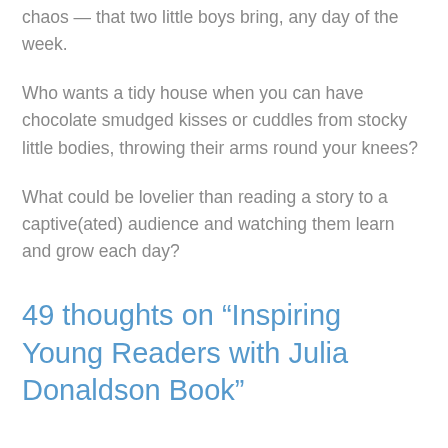chaos — that two little boys bring, any day of the week.
Who wants a tidy house when you can have chocolate smudged kisses or cuddles from stocky little bodies, throwing their arms round your knees?
What could be lovelier than reading a story to a captive(ated) audience and watching them learn and grow each day?
49 thoughts on “Inspiring Young Readers with Julia Donaldson Book”